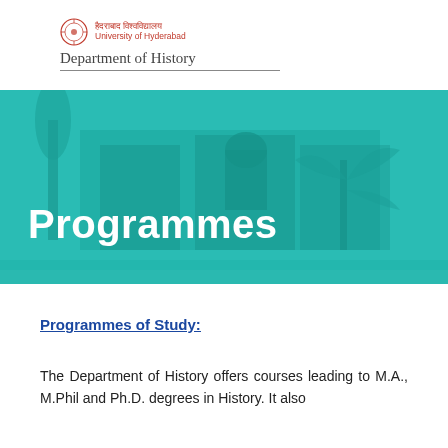University of Hyderabad — Department of History
[Figure (photo): Teal-tinted banner photo of a university building with trees, overlaid with the word 'Programmes' in large white bold text.]
Programmes of Study:
The Department of History offers courses leading to M.A., M.Phil and Ph.D. degrees in History. It also